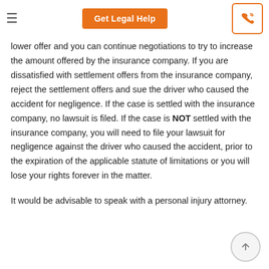Get Legal Help | Free Advice
lower offer and you can continue negotiations to try to increase the amount offered by the insurance company.  If you are dissatisfied with settlement offers from the insurance company, reject the settlement offers and sue the driver who caused the accident for negligence.  If the case is settled with the insurance company, no lawsuit is filed.  If the case is NOT settled with the insurance company, you will need to file your lawsuit for negligence against the driver who caused the accident, prior to the expiration of the applicable statute of limitations or you will lose your rights forever in the matter.
It would be advisable to speak with a personal injury attorney.